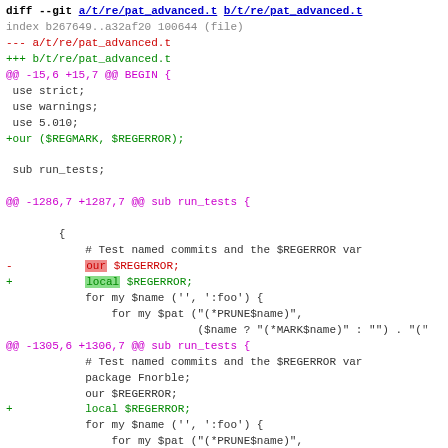[Figure (screenshot): Git diff output showing changes to t/re/pat_advanced.t file, with colored syntax highlighting showing removed and added lines, hunk headers, and code context.]